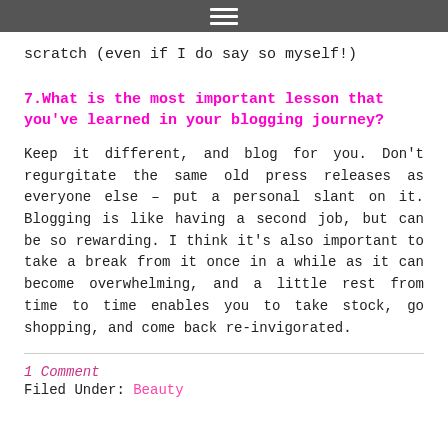☰ (hamburger menu icon)
scratch (even if I do say so myself!)
7.What is the most important lesson that you've learned in your blogging journey?
Keep it different, and blog for you. Don't regurgitate the same old press releases as everyone else – put a personal slant on it. Blogging is like having a second job, but can be so rewarding. I think it's also important to take a break from it once in a while as it can become overwhelming, and a little rest from time to time enables you to take stock, go shopping, and come back re-invigorated.
1 Comment
Filed Under: Beauty